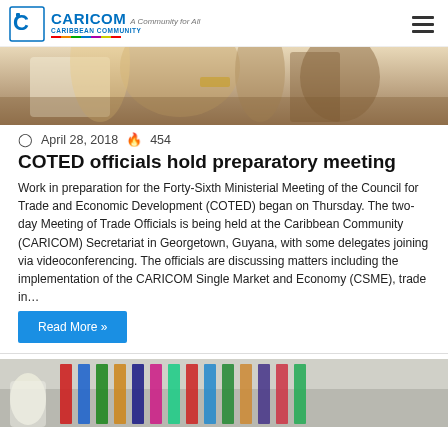CARICOM Caribbean Community — A Community for All
[Figure (photo): People seated at a meeting table, view from behind, with one person in a yellow top visible]
April 28, 2018  454
COTED officials hold preparatory meeting
Work in preparation for the Forty-Sixth Ministerial Meeting of the Council for Trade and Economic Development (COTED) began on Thursday. The two-day Meeting of Trade Officials is being held at the Caribbean Community (CARICOM) Secretariat in Georgetown, Guyana, with some delegates joining via videoconferencing. The officials are discussing matters including the implementation of the CARICOM Single Market and Economy (CSME), trade in…
Read More »
[Figure (photo): Meeting room with a row of national flags from Caribbean countries, a person in a white shirt visible on the left]